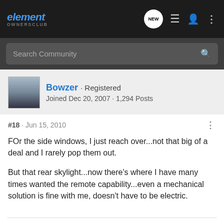element OWNERSCLUB — Navigation bar with NEW, list, user, and menu icons
Search Community
Bowzer · Registered
Joined Dec 20, 2007 · 1,294 Posts
#18 · Jun 15, 2010
FOr the side windows, I just reach over...not that big of a deal and I rarely pop them out.

But that rear skylight...now there's where I have many times wanted the remote capability...even a mechanical solution is fine with me, doesn't have to be electric.
Member #23,382
238k Miles and Rolling